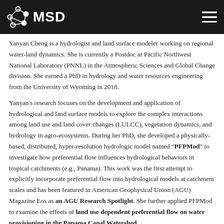MSD
Yanyan Cheng is a hydrologist and land surface modeler working on regional water-land dynamics. She is currently a Postdoc at Pacific Northwest National Laboratory (PNNL) in the Atmospheric Sciences and Global Change division. She earned a PhD in hydrology and water resources engineering from the University of Wyoming in 2018.
Yanyan's research focuses on the development and application of hydrological and land surface models to explore the complex interactions among land use and land cover changes (LULCC), vegetation dynamics, and hydrology in agro-ecosystems. During her PhD, she developed a physically-based, distributed, hyper-resolution hydrologic model named "PFPMod" to investigate how preferential flow influences hydrological behaviors in tropical catchments (e.g., Panama). This work was the first attempt to explicitly incorporate preferential flow into hydrological models at catchment scales and has been featured in American Geophysical Union (AGU) Magazine Eos as an AGU Research Spotlight. She further applied PFPMod to examine the effects of land use dependent preferential flow on water provisioning in the Panama Canal Watershed.